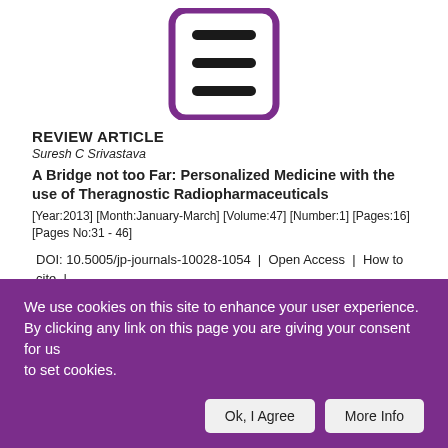[Figure (logo): Purple document/journal logo icon with three horizontal lines inside a rounded rectangle outline]
REVIEW ARTICLE
Suresh C Srivastava
A Bridge not too Far: Personalized Medicine with the use of Theragnostic Radiopharmaceuticals
[Year:2013] [Month:January-March] [Volume:47] [Number:1] [Pages:16] [Pages No:31 - 46]
DOI: 10.5005/jp-journals-10028-1054  |  Open Access  |  How to cite  |  Citations  17
We use cookies on this site to enhance your user experience. By clicking any link on this page you are giving your consent for us to set cookies.